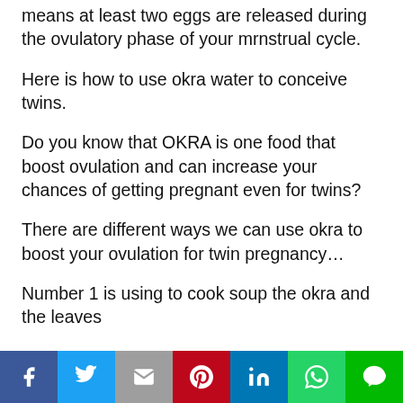means at least two eggs are released during the ovulatory phase of your mrnstrual cycle.
Here is how to use okra water to conceive twins.
Do you know that OKRA is one food that boost ovulation and can increase your chances of getting pregnant even for twins?
There are different ways we can use okra to boost your ovulation for twin pregnancy…
Number 1 is using to cook soup the okra and the leaves